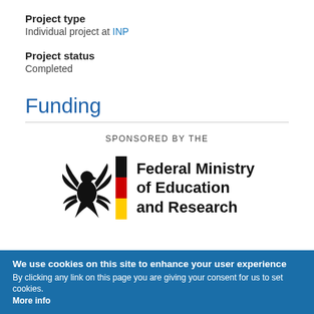Project type
Individual project at INP
Project status
Completed
Funding
SPONSORED BY THE
[Figure (logo): Federal Ministry of Education and Research logo with German eagle and tricolor bar stripe (black, red, gold)]
We use cookies on this site to enhance your user experience
By clicking any link on this page you are giving your consent for us to set cookies.
More info